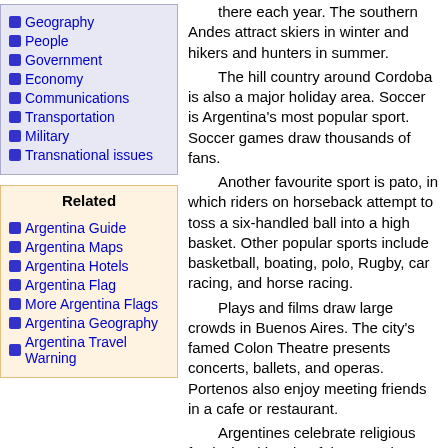Geography
People
Government
Economy
Communications
Transportation
Military
Transnational issues
Related
Argentina Guide
Argentina Maps
Argentina Hotels
Argentina Flag
More Argentina Flags
Argentina Geography
Argentina Travel Warning
there each year. The southern Andes attract skiers in winter and hikers and hunters in summer. The hill country around Cordoba is also a major holiday area. Soccer is Argentina's most popular sport. Soccer games draw thousands of fans. Another favourite sport is pato, in which riders on horseback attempt to toss a six-handled ball into a high basket. Other popular sports include basketball, boating, polo, Rugby, car racing, and horse racing. Plays and films draw large crowds in Buenos Aires. The city's famed Colon Theatre presents concerts, ballets, and operas. Portenos also enjoy meeting friends in a cafe or restaurant. Argentines celebrate religious festivals with colourful processions and fireworks. During carnival, a festival held before Lent, costumed Argentines dance in the streets.
Flyfishing
The Detail Company offers wonderful opportunities in